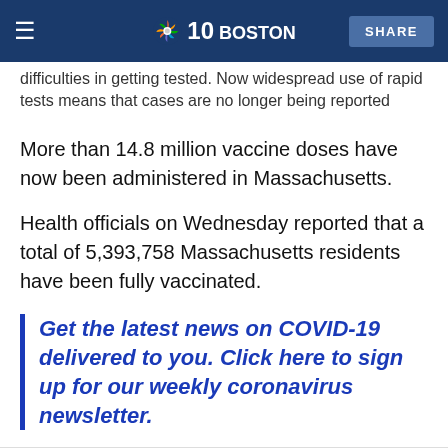NBC 10 BOSTON | SHARE
difficulties in getting tested. Now widespread use of rapid tests means that cases are no longer being reported
More than 14.8 million vaccine doses have now been administered in Massachusetts.
Health officials on Wednesday reported that a total of 5,393,758 Massachusetts residents have been fully vaccinated.
Get the latest news on COVID-19 delivered to you. Click here to sign up for our weekly coronavirus newsletter.